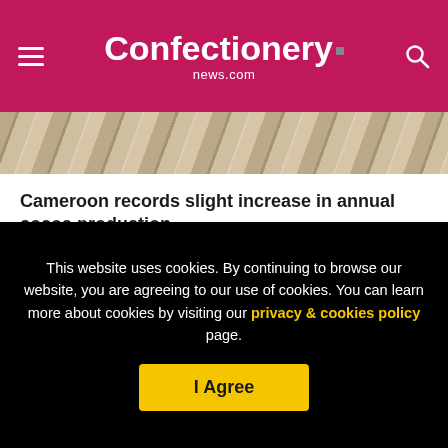Confectionery news.com
[Figure (photo): Partial view of cocoa pods or confectionery products, bottom portion of a header image]
Cameroon records slight increase in annual cocoa production
[Figure (logo): WilliamReed. logo with copyright notice below]
This website uses cookies. By continuing to browse our website, you are agreeing to our use of cookies. You can learn more about cookies by visiting our privacy & cookies policy page.